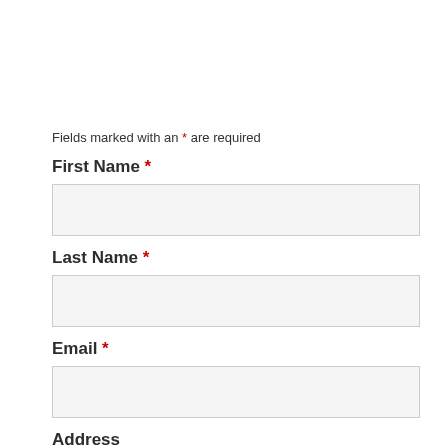Fields marked with an * are required
First Name *
[Figure (other): Empty text input field for First Name]
Last Name *
[Figure (other): Empty text input field for Last Name]
Email *
[Figure (other): Empty text input field for Email]
Address